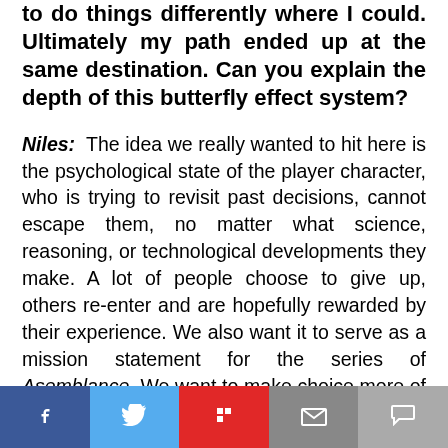to do things differently where I could. Ultimately my path ended up at the same destination. Can you explain the depth of this butterfly effect system?
Niles: The idea we really wanted to hit here is the psychological state of the player character, who is trying to revisit past decisions, cannot escape them, no matter what science, reasoning, or technological developments they make. A lot of people choose to give up, others re-enter and are hopefully rewarded by their experience. We also want it to serve as a mission statement for the series of Asemblance. We want to make choice more of a part of the gameplay experiences and hopefully satisfy exactly what you were looking for, since we failed to do so this time around.